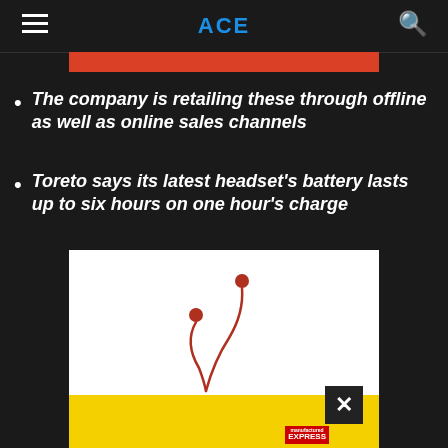ACE
The company is retailing these through offline as well as online sales channels
Toreto says its latest headset's battery lasts up to six hours on one hour's charge
[Figure (photo): Red in-ear headphones/earbuds on white background with yellow strip at bottom and an Express magazine badge]